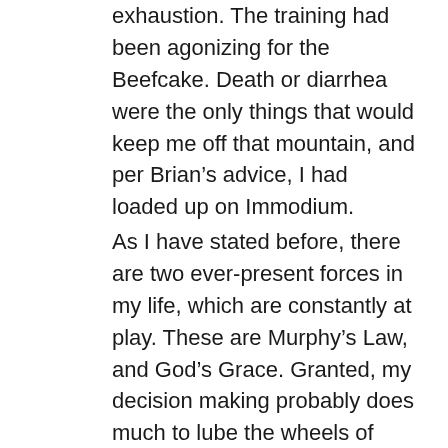exhaustion. The training had been agonizing for the Beefcake. Death or diarrhea were the only things that would keep me off that mountain, and per Brian's advice, I had loaded up on Immodium.
As I have stated before, there are two ever-present forces in my life, which are constantly at play. These are Murphy's Law, and God's Grace. Granted, my decision making probably does much to lube the wheels of Murphy's Law, but there is no denying that God is one helluva reliable bail bondsman. Having Greg finally come to his senses, we were off and running, voluntarily heading westward, into the belly of the beast